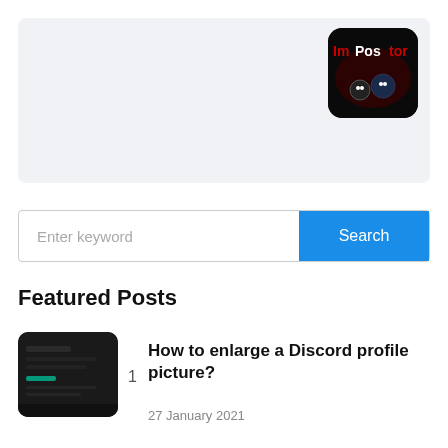GUIDES
Is The Among Us imposter cheat real?
15 January 2021
[Figure (screenshot): Among Us impostor app icon — dark background with red text 'Impostor' and cartoon character figures]
Enter keyword
Search
Featured Posts
[Figure (screenshot): Dark screenshot of a Discord-like application interface showing a profile picture or settings screen]
1
How to enlarge a Discord profile picture?
27 January 2021